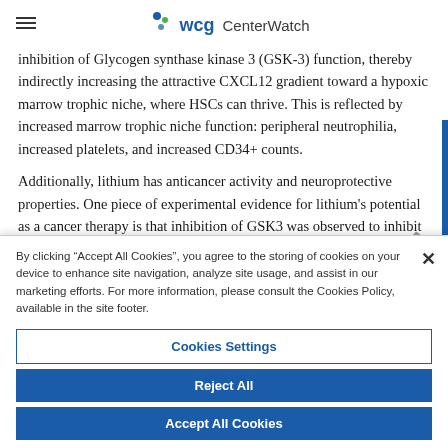wcg CenterWatch
inhibition of Glycogen synthase kinase 3 (GSK-3) function, thereby indirectly increasing the attractive CXCL12 gradient toward a hypoxic marrow trophic niche, where HSCs can thrive. This is reflected by increased marrow trophic niche function: peripheral neutrophilia, increased platelets, and increased CD34+ counts.
Additionally, lithium has anticancer activity and neuroprotective properties. One piece of experimental evidence for lithium's potential as a cancer therapy is that inhibition of GSK3 was observed to inhibit prostate cancer cell proliferation. With respect to colorectal
By clicking “Accept All Cookies”, you agree to the storing of cookies on your device to enhance site navigation, analyze site usage, and assist in our marketing efforts. For more information, please consult the Cookies Policy, available in the site footer.
Cookies Settings
Reject All
Accept All Cookies